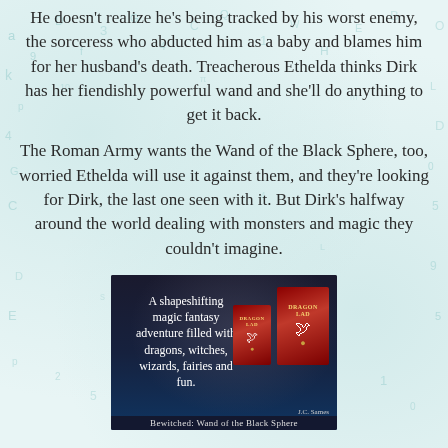He doesn't realize he's being tracked by his worst enemy, the sorceress who abducted him as a baby and blames him for her husband's death. Treacherous Ethelda thinks Dirk has her fiendishly powerful wand and she'll do anything to get it back.
The Roman Army wants the Wand of the Black Sphere, too, worried Ethelda will use it against them, and they're looking for Dirk, the last one seen with it. But Dirk's halfway around the world dealing with monsters and magic they couldn't imagine.
[Figure (photo): Book advertisement image with dark background showing text: 'A shapeshifting magic fantasy adventure filled with dragons, witches, wizards, fairies and fun.' alongside two book covers for 'Dragon Lad' (small and large format showing a white bird and golden sphere). Bottom caption reads 'Bewitched: Wand of the Black Sphere']